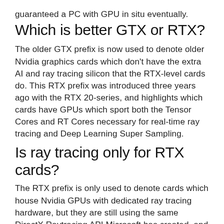guaranteed a PC with GPU in situ eventually.
Which is better GTX or RTX?
The older GTX prefix is now used to denote older Nvidia graphics cards which don't have the extra AI and ray tracing silicon that the RTX-level cards do. This RTX prefix was introduced three years ago with the RTX 20-series, and highlights which cards have GPUs which sport both the Tensor Cores and RT Cores necessary for real-time ray tracing and Deep Learning Super Sampling.
Is ray tracing only for RTX cards?
The RTX prefix is only used to denote cards which house Nvidia GPUs with dedicated ray tracing hardware, but they are still using the same DirectX Raytracing API Microsoft has created, and which is